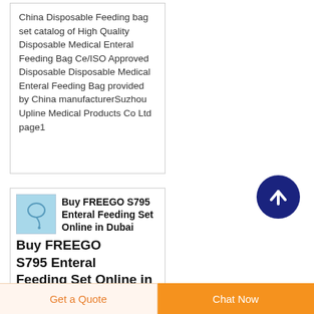China Disposable Feeding bag set catalog of High Quality Disposable Medical Enteral Feeding Bag Ce/ISO Approved Disposable Disposable Medical Enteral Feeding Bag provided by China manufacturerSuzhou Upline Medical Products Co Ltd page1
[Figure (other): Back to top button — dark navy blue circle with upward arrow icon]
[Figure (photo): Small thumbnail image of an enteral feeding tube/set on blue background]
Buy FREEGO S795 Enteral Feeding Set Online in Dubai
Enteral Feeding Set Ho...
Get a Quote
Chat Now